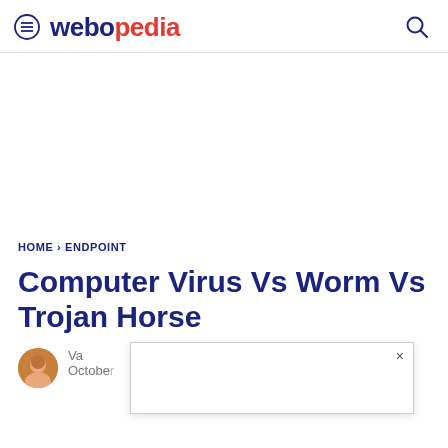webopedia
[Figure (other): White blank ad space area]
HOME › ENDPOINT
Computer Virus Vs Worm Vs Trojan Horse
Va... October